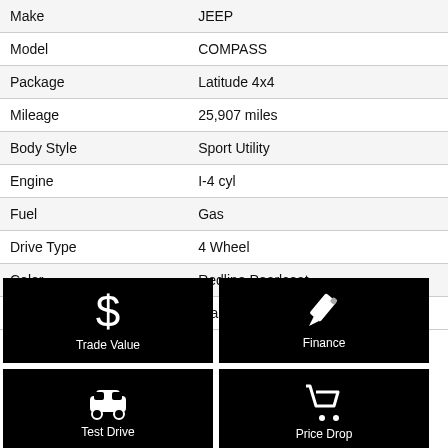| Field | Value |
| --- | --- |
| Make | JEEP |
| Model | COMPASS |
| Package | Latitude 4x4 |
| Mileage | 25,907 miles |
| Body Style | Sport Utility |
| Engine | I-4 cyl |
| Fuel | Gas |
| Drive Type | 4 Wheel |
| Color | Redline Pearlcoat |
| Interior | Black |
[Figure (infographic): Trade Value button with dollar sign icon on black background]
[Figure (infographic): Finance button with pencil icon on black background]
[Figure (infographic): Test Drive button with car icon on black background]
[Figure (infographic): Price Drop button with shopping cart icon on black background]